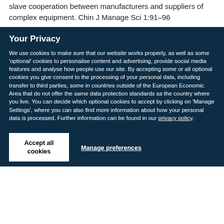Stackelberg model for incentive coordination of master-slave cooperation between manufacturers and suppliers of complex equipment. Chin J Manage Sci 1:91–96
Your Privacy
We use cookies to make sure that our website works properly, as well as some 'optional' cookies to personalise content and advertising, provide social media features and analyse how people use our site. By accepting some or all optional cookies you give consent to the processing of your personal data, including transfer to third parties, some in countries outside of the European Economic Area that do not offer the same data protection standards as the country where you live. You can decide which optional cookies to accept by clicking on 'Manage Settings', where you can also find more information about how your personal data is processed. Further information can be found in our privacy policy.
Accept all cookies
Manage preferences